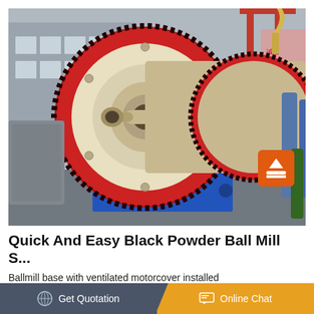[Figure (photo): Industrial ball mill machine with large red gear ring and cream-colored drum body mounted on blue steel base, photographed outdoors at a manufacturing facility with pipes and cranes in the background.]
Quick And Easy Black Powder Ball Mill S...
Ballmill base with ventilated motorcover installed ballmill base with ventilated motorcover removed the
Get Quotation   Online Chat